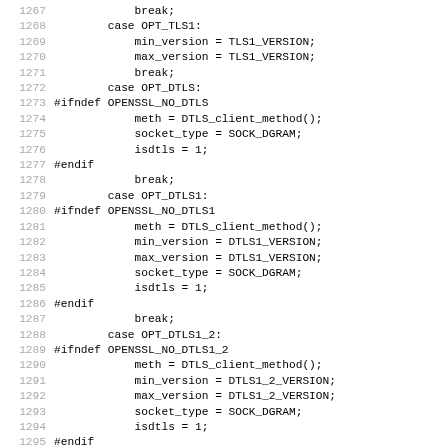[Figure (other): Source code listing in C showing a switch-case block handling OPT_TLS1, OPT_DTLS, OPT_DTLS1, OPT_DTLS1_2, and OPT_SCTP cases with associated #ifndef/#endif preprocessor guards. Line numbers 1267-1299 visible.]